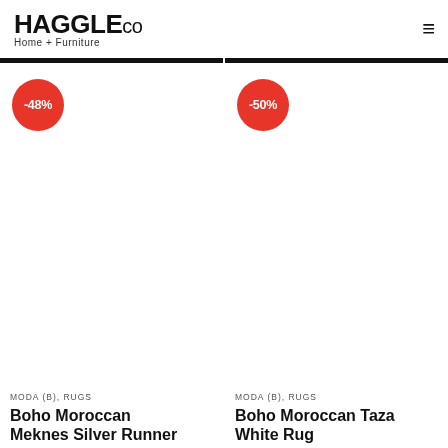HAGGLEco Home + Furniture
-48%
-50%
MODA (B), RUGS
Boho Moroccan Meknes Silver Runner
MODA (B), RUGS
Boho Moroccan Taza White Rug